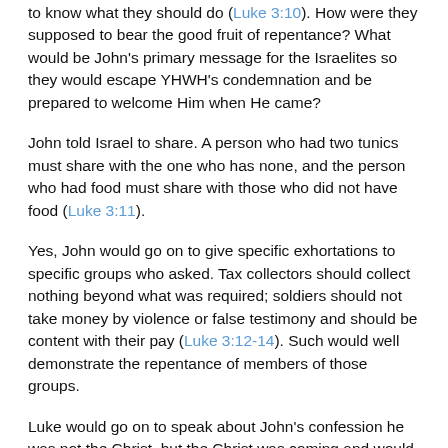to know what they should do (Luke 3:10). How were they supposed to bear the good fruit of repentance? What would be John's primary message for the Israelites so they would escape YHWH's condemnation and be prepared to welcome Him when He came?
John told Israel to share. A person who had two tunics must share with the one who has none, and the person who had food must share with those who did not have food (Luke 3:11).
Yes, John would go on to give specific exhortations to specific groups who asked. Tax collectors should collect nothing beyond what was required; soldiers should not take money by violence or false testimony and should be content with their pay (Luke 3:12-14). Such would well demonstrate the repentance of members of those groups.
Luke would go on to speak about John's confession he was not the Christ, but the Christ was coming and would be the Judge; Jesus was baptized by John; John was imprisoned, and at a later time, would be executed, by Herod Antipas (Luke 3:13-23, 9:7-9). Luke 3:7-14, therefore, represents what we know of the preaching of John the Baptist as he prophesied and exhorted Israel to repentance before the great and terrible day of YHWH...